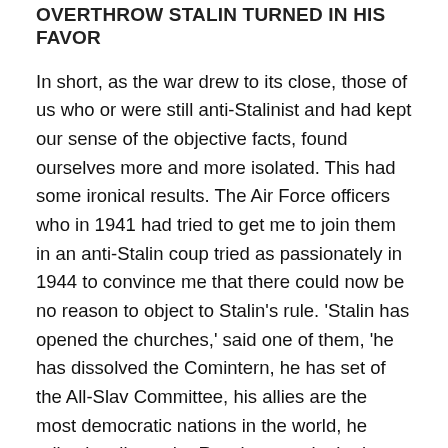OVERTHROW STALIN TURNED IN HIS FAVOR
In short, as the war drew to its close, those of us who or were still anti-Stalinist and had kept our sense of the objective facts, found ourselves more and more isolated. This had some ironical results. The Air Force officers who in 1941 had tried to get me to join them in an anti-Stalin coup tried as passionately in 1944 to convince me that there could now be no reason to object to Stalin's rule. 'Stalin has opened the churches,' said one of them, 'he has dissolved the Comintern, he has set of the All-Slav Committee, his allies are the most democratic nations in the world, he relies loyally on the Russian people, he is restoring the true Russian traditions…. What more do we want?' In 1943 and 1944 I do not think that there was a trace of opposition in the USSR. Men who had been in opposition to Stalin were even ashamed of what they had